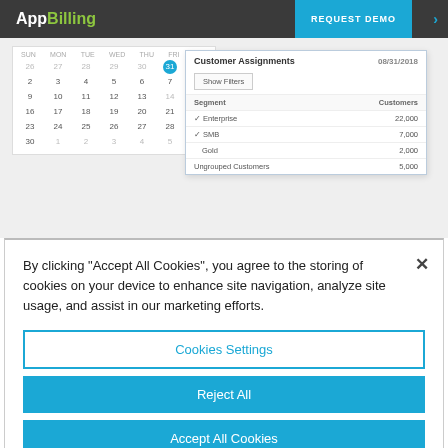AppBilling | REQUEST DEMO
[Figure (screenshot): Calendar UI widget showing dates in August/September with date 31 highlighted in blue, and a Customer Assignments popup showing segments Enterprise 22,000, SMB 7,000, Gold 2,000, Ungrouped Customers 5,000 dated 08/31/2018]
By clicking “Accept All Cookies”, you agree to the storing of cookies on your device to enhance site navigation, analyze site usage, and assist in our marketing efforts.
Cookies Settings
Reject All
Accept All Cookies